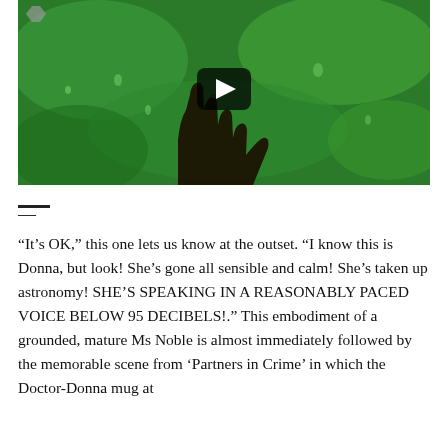[Figure (screenshot): A video thumbnail showing a hand pressed against a green-tinted wet surface with a YouTube-style play button overlay in the center. A small logo is visible in the top-left corner of the video.]
—
“It’s OK,” this one lets us know at the outset. “I know this is Donna, but look! She’s gone all sensible and calm! She’s taken up astronomy! SHE’S SPEAKING IN A REASONABLY PACED VOICE BELOW 95 DECIBELS!.” This embodiment of a grounded, mature Ms Noble is almost immediately followed by the memorable scene from ‘Partners in Crime’ in which the Doctor-Donna mug at